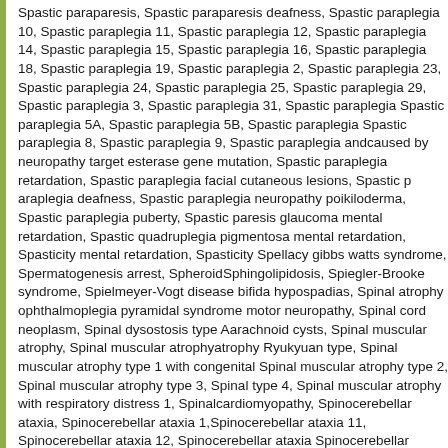Spastic paraparesis, Spastic paraparesis deafness, Spastic paraplegia 10, Spastic paraplegia 11, Spastic paraplegia 12, Spastic paraplegia 14, Spastic paraplegia 15, Spastic paraplegia 16, Spastic paraplegia 18, Spastic paraplegia 19, Spastic paraplegia 2, Spastic paraplegia 23, Spastic paraplegia 24, Spastic paraplegia 25, Spastic paraplegia 29, Spastic paraplegia 3, Spastic paraplegia 31, Spastic paraplegia Spastic paraplegia 5A, Spastic paraplegia 5B, Spastic paraplegia Spastic paraplegia 8, Spastic paraplegia 9, Spastic paraplegia and caused by neuropathy target esterase gene mutation, Spastic paraplegia retardation, Spastic paraplegia facial cutaneous lesions, Spastic paraplegia deafness, Spastic paraplegia neuropathy poikiloderma, Spastic paraplegia puberty, Spastic paresis glaucoma mental retardation, Spastic quadriplegia pigmentosa mental retardation, Spasticity mental retardation, Spastic Spellacy gibbs watts syndrome, Spermatogenesis arrest, Spheroid Sphingolipidosis, Spiegler-Brooke syndrome, Spielmeyer-Vogt disease bifida hypospadias, Spinal atrophy ophthalmoplegia pyramidal syndrome motor neuropathy, Spinal cord neoplasm, Spinal dysostosis type A arachnoid cysts, Spinal muscular atrophy, Spinal muscular atrophy atrophy Ryukyuan type, Spinal muscular atrophy type 1 with congenital Spinal muscular atrophy type 2, Spinal muscular atrophy type 3, Spinal type 4, Spinal muscular atrophy with respiratory distress 1, Spinal cardiomyopathy, Spinocerebellar ataxia, Spinocerebellar ataxia 1, Spinocerebellar ataxia 11, Spinocerebellar ataxia 12, Spinocerebellar ataxia Spinocerebellar ataxia 14, Spinocerebellar ataxia 15, Spinocerebellar ataxia Spinocerebellar ataxia 18, Spinocerebellar ataxia 19, Spinocerebellar ataxia